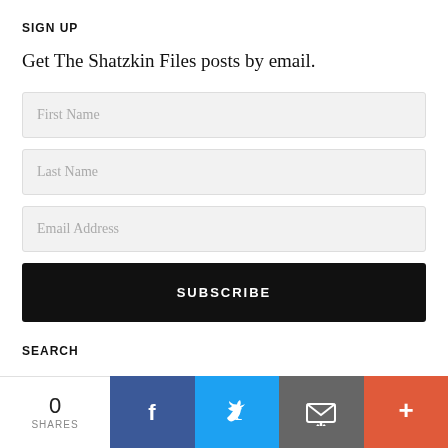SIGN UP
Get The Shatzkin Files posts by email.
First Name
Last Name
Email Address
SUBSCRIBE
SEARCH
0 SHARES